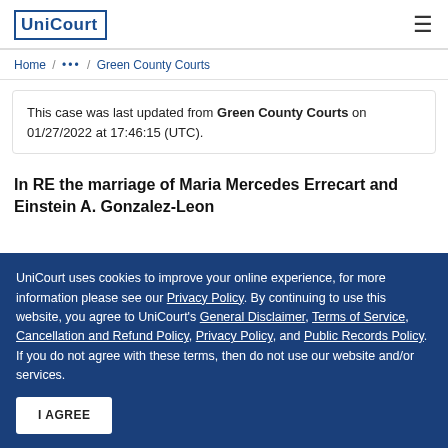UniCourt
Home / ... / Green County Courts
This case was last updated from Green County Courts on 01/27/2022 at 17:46:15 (UTC).
In RE the marriage of Maria Mercedes Errecart and Einstein A. Gonzalez-Leon
UniCourt uses cookies to improve your online experience, for more information please see our Privacy Policy. By continuing to use this website, you agree to UniCourt's General Disclaimer, Terms of Service, Cancellation and Refund Policy, Privacy Policy, and Public Records Policy. If you do not agree with these terms, then do not use our website and/or services.
I AGREE